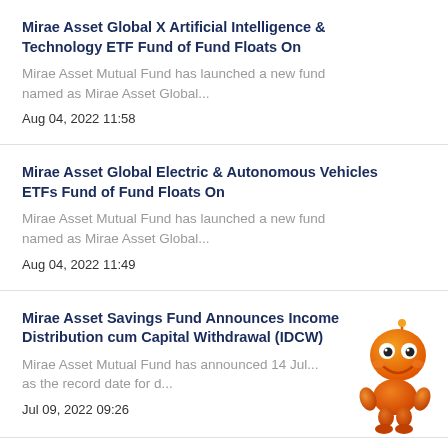Mirae Asset Global X Artificial Intelligence & Technology ETF Fund of Fund Floats On
Mirae Asset Mutual Fund has launched a new fund named as Mirae Asset Global...
Aug 04, 2022 11:58
Mirae Asset Global Electric & Autonomous Vehicles ETFs Fund of Fund Floats On
Mirae Asset Mutual Fund has launched a new fund named as Mirae Asset Global...
Aug 04, 2022 11:49
Mirae Asset Savings Fund Announces Income Distribution cum Capital Withdrawal (IDCW)
Mirae Asset Mutual Fund has announced 14 Jul... as the record date for d...
Jul 09, 2022 09:26
[Figure (illustration): Orange cartoon robot mascot character with antenna, large eyes and smiling face]
Mirae Asset Mutual Fund Announces change in